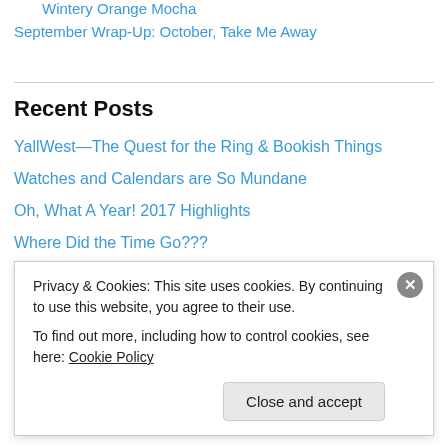Wintery Orange Mocha
September Wrap-Up: October, Take Me Away
Recent Posts
YallWest—The Quest for the Ring & Bookish Things
Watches and Calendars are So Mundane
Oh, What A Year! 2017 Highlights
Where Did the Time Go???
Plugging Along—NaNo Update
All about Writers
NaNo Prep Time
Privacy & Cookies: This site uses cookies. By continuing to use this website, you agree to their use. To find out more, including how to control cookies, see here: Cookie Policy
Close and accept